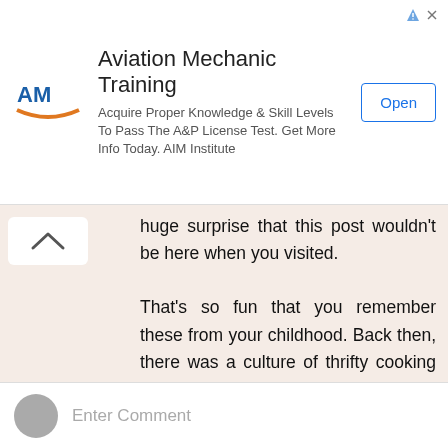[Figure (screenshot): Advertisement banner for Aviation Mechanic Training by AIM Institute with logo, text, and Open button]
huge surprise that this post wouldn't be here when you visited.

That's so fun that you remember these from your childhood. Back then, there was a culture of thrifty cooking practices among most young families that seems to be lost today. People's first response to being out of something was "how can we make do?", as opposed to now, "got to run out and buy something".

Have a great day, Belinda!
Reply
Enter Comment